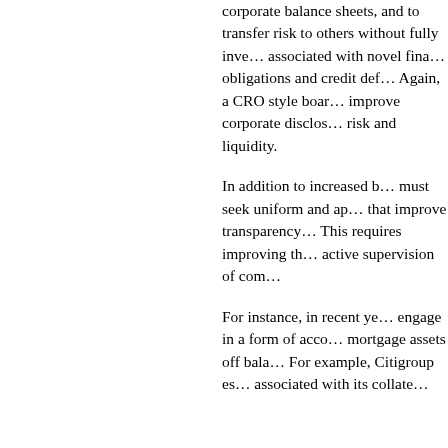corporate balance sheets, and to transfer risk to others without fully investigating the risks associated with novel financial products — collateralized obligations and credit default swaps, for example. Again, a CRO style board committee would improve corporate disclosure related to off-balance risk and liquidity.
In addition to increased board oversight, regulators must seek uniform and appropriate accounting standards that improve transparency in balance sheets. This requires improving the role of auditors and active supervision of compliance.
For instance, in recent years large banks began to engage in a form of accounting fraud by keeping mortgage assets off balance sheets entirely. For example, Citigroup established conduits associated with its collateralized debt obligations that liability, the following...